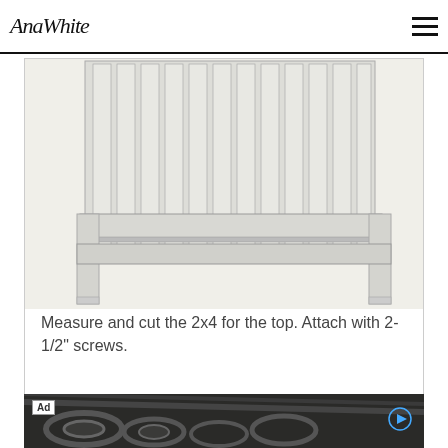AnaWhite
[Figure (engineering-diagram): A 3D sketch/CAD-style illustration of a wooden headboard frame showing vertical slat boards at the top and horizontal 2x4 rails, with two legs visible at the bottom corners.]
Measure and cut the 2x4 for the top.  Attach with 2-1/2" screws.
[Figure (photo): An advertisement banner with a dark industrial background image showing machinery/spools, with an 'Ad' label in the top-left corner and a play button icon on the right.]